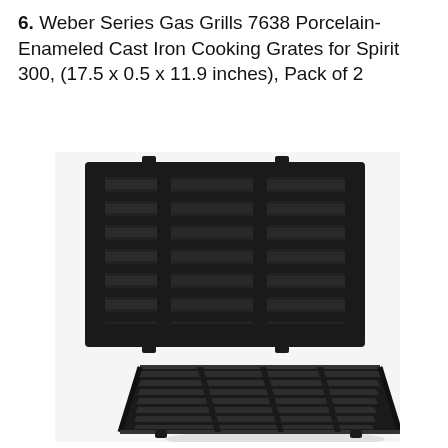6. Weber Series Gas Grills 7638 Porcelain-Enameled Cast Iron Cooking Grates for Spirit 300, (17.5 x 0.5 x 11.9 inches), Pack of 2
[Figure (photo): Two black porcelain-enameled cast iron cooking grates for Weber Spirit 300 gas grills, shown stacked at an angle. The grates have horizontal slats arranged in three columns divided by two vertical bars, with small mounting tabs on the edges. The grates are dark/black in color.]